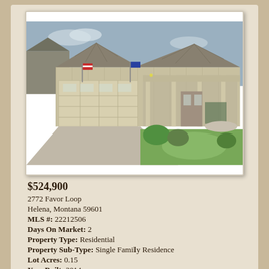[Figure (photo): Exterior photo of a single-story ranch-style home with two-car garage, covered front porch, American flags, and landscaped front yard with green lawn and shrubs.]
$524,900
2772 Favor Loop
Helena, Montana 59601
MLS #: 22212506
Days On Market: 2
Property Type: Residential
Property Sub-Type: Single Family Residence
Lot Acres: 0.15
Year Built: 2014
Style: 1.5-2 Stories
Total Sq. Ft.: 1982
Total Bedrooms: 3